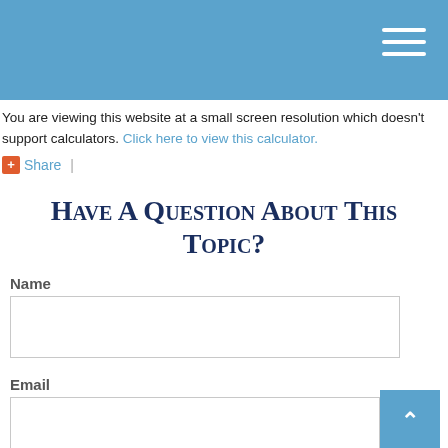[Figure (screenshot): Blue header navigation bar with white hamburger menu icon in the top right corner]
You are viewing this website at a small screen resolution which doesn't support calculators. Click here to view this calculator.
+ Share |
Have A Question About This Topic?
Name
Email